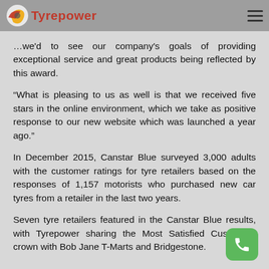Tyrepower
…we'd to see our company's goals of providing exceptional service and great products being reflected by this award.
“What is pleasing to us as well is that we received five stars in the online environment, which we take as positive response to our new website which was launched a year ago.”
In December 2015, Canstar Blue surveyed 3,000 adults with the customer ratings for tyre retailers based on the responses of 1,157 motorists who purchased new car tyres from a retailer in the last two years.
Seven tyre retailers featured in the Canstar Blue results, with Tyrepower sharing the Most Satisfied Customers crown with Bob Jane T-Marts and Bridgestone.